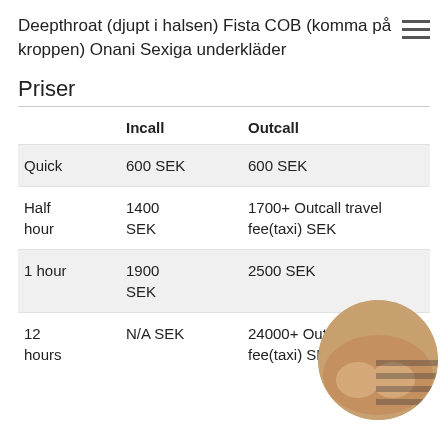Deepthroat (djupt i halsen) Fista COB (komma på kroppen) Onani Sexiga underkläder
Priser
|  | Incall | Outcall |
| --- | --- | --- |
| Quick | 600 SEK | 600 SEK |
| Half hour | 1400 SEK | 1700+ Outcall travel fee(taxi) SEK |
| 1 hour | 1900 SEK | 2500 SEK |
| 12 hours | N/A SEK | 24000+ Outcall fee(taxi) SEK |
[Figure (photo): Circular cropped photo of a person, partially visible at bottom right corner]